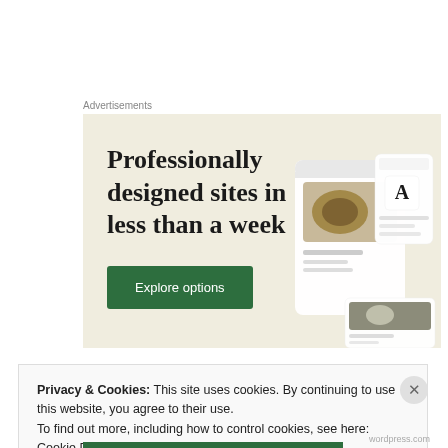Advertisements
[Figure (screenshot): Advertisement banner with beige background showing text 'Professionally designed sites in less than a week' with a green 'Explore options' button and device mockups showing website designs on the right side.]
Privacy & Cookies: This site uses cookies. By continuing to use this website, you agree to their use.
To find out more, including how to control cookies, see here: Cookie Policy
Close and accept